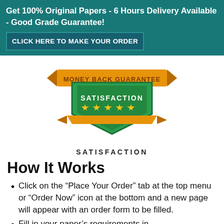Get 100% Original Papers - 6 Hours Delivery Available - Good Grade Guarantee! CLICK HERE TO MAKE YOUR ORDER
[Figure (illustration): Money Back Guarantee - Satisfaction badge with gold stars on a green shield with orange ribbon banner]
SATISFACTION
How It Works
Click on the “Place Your Order” tab at the top menu or “Order Now” icon at the bottom and a new page will appear with an order form to be filled.
Fill in your paper’s requirements in